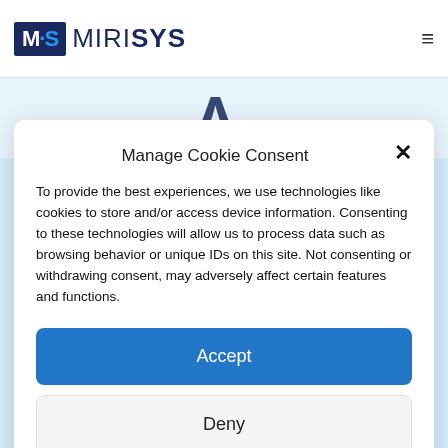[Figure (logo): MiriSys logo with blue MS box and company name]
Manage Cookie Consent
To provide the best experiences, we use technologies like cookies to store and/or access device information. Consenting to these technologies will allow us to process data such as browsing behavior or unique IDs on this site. Not consenting or withdrawing consent, may adversely affect certain features and functions.
Accept
Deny
View preferences